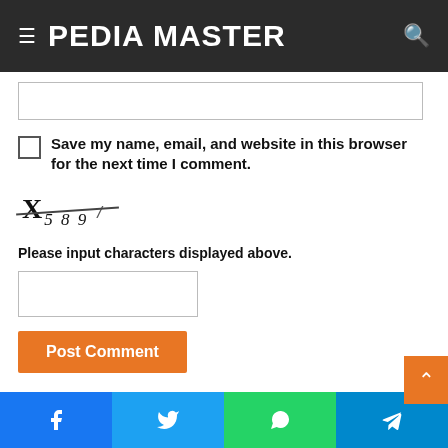≡  PEDIA MASTER  🔍
[Figure (screenshot): Empty text input box for website URL field]
Save my name, email, and website in this browser for the next time I comment.
[Figure (other): CAPTCHA image displaying: X589 with strikethrough]
Please input characters displayed above.
[Figure (screenshot): Empty CAPTCHA input text box]
Post Comment
Facebook | Twitter | WhatsApp | Telegram